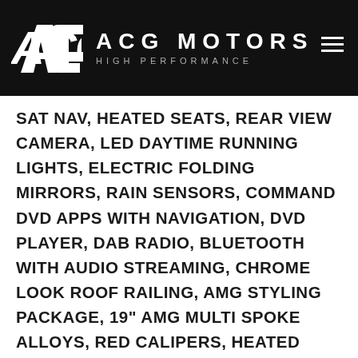[Figure (logo): ACG Motors High Performance logo with stylized ACG letters on dark background with hamburger menu icon]
SAT NAV, HEATED SEATS, REAR VIEW CAMERA, LED DAYTIME RUNNING LIGHTS, ELECTRIC FOLDING MIRRORS, RAIN SENSORS, COMMAND DVD APPS WITH NAVIGATION, DVD PLAYER, DAB RADIO, BLUETOOTH WITH AUDIO STREAMING, CHROME LOOK ROOF RAILING, AMG STYLING PACKAGE, 19" AMG MULTI SPOKE ALLOYS, RED CALIPERS, HEATED SCREEN WASH SYSTEM, FUEL TANK WITH INCREASED CONTENT, ADAPTIVE STOP LIGHT FLASHING, AUTOMATIC PACKAGE, MIRRORS PACKAGE, FRONT MEMORY PACKAGE, FULL AMG BLACK DESIGNO